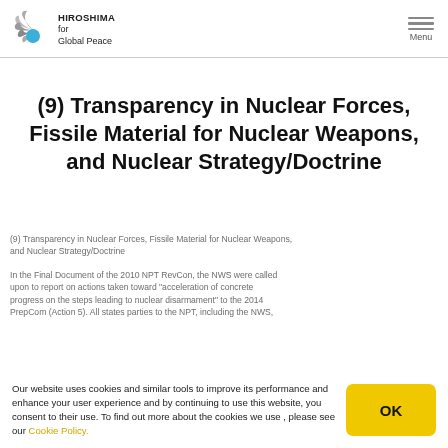Hiroshima for Global Peace | Menu
(9) Transparency in Nuclear Forces, Fissile Material for Nuclear Weapons, and Nuclear Strategy/Doctrine
(9) Transparency in Nuclear Forces, Fissile Material for Nuclear Weapons, and Nuclear Strategy/Doctrine
In the Final Document of the 2010 NPT RevCon, the NWS were called upon to report on actions taken toward "acceleration of concrete progress on the steps leading to nuclear disarmament" to the 2014 PrepCom (Action 5). All states parties to the NPT, including the NWS,
Our website uses cookies and similar tools to improve its performance and enhance your user experience and by continuing to use this website, you consent to their use. To find out more about the cookies we use , please see our Cookie Policy.